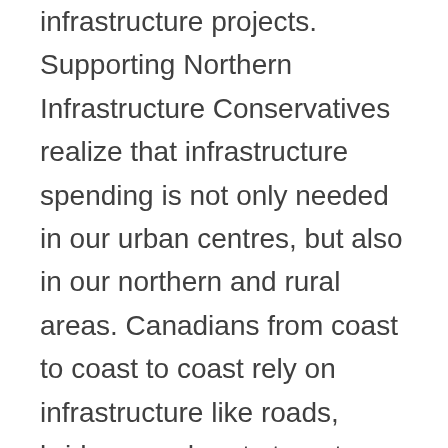workers to supply each other's infrastructure projects. Supporting Northern Infrastructure Conservatives realize that infrastructure spending is not only needed in our urban centres, but also in our northern and rural areas. Canadians from coast to coast to coast rely on infrastructure like roads, bridges, and ports to get around, including ensuring these projects can weather the harsher conditions in Northern Canada. A Conservative government will ensure that the territories receive their fair share of infrastructure funding by reserving a